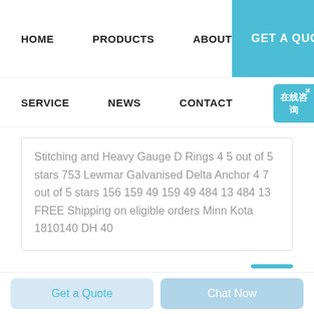HOME   PRODUCTS   ABOUT   GET A QUOTE
SERVICE   NEWS   CONTACT
Stitching and Heavy Gauge D Rings 4 5 out of 5 stars 753 Lewmar Galvanised Delta Anchor 4 7 out of 5 stars 156 159 49 159 49 484 13 484 13 FREE Shipping on eligible orders Minn Kota 1810140 DH 40
Get a Quote   Chat Now